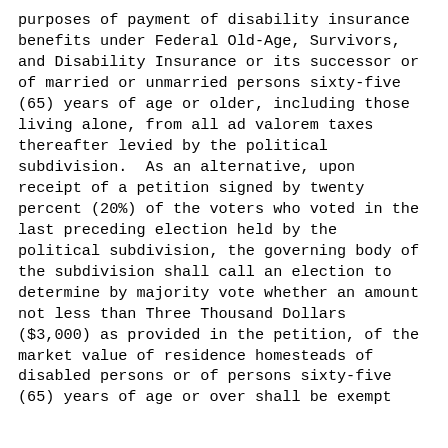purposes of payment of disability insurance benefits under Federal Old-Age, Survivors, and Disability Insurance or its successor or of married or unmarried persons sixty-five (65) years of age or older, including those living alone, from all ad valorem taxes thereafter levied by the political subdivision.  As an alternative, upon receipt of a petition signed by twenty percent (20%) of the voters who voted in the last preceding election held by the political subdivision, the governing body of the subdivision shall call an election to determine by majority vote whether an amount not less than Three Thousand Dollars ($3,000) as provided in the petition, of the market value of residence homesteads of disabled persons or of persons sixty-five (65) years of age or over shall be exempt